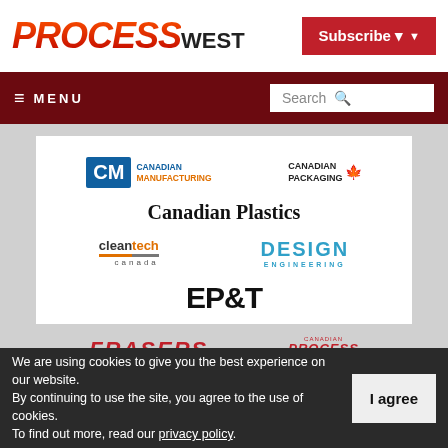PROCESS WEST
Subscribe
≡ MENU | Search
[Figure (logo): Grid of publication logos: Canadian Manufacturing (CM), Canadian Packaging, Canadian Plastics, cleantech canada, DESIGN ENGINEERING, EP&T, FRASERS, Canadian Process]
We are using cookies to give you the best experience on our website. By continuing to use the site, you agree to the use of cookies. To find out more, read our privacy policy.
I agree